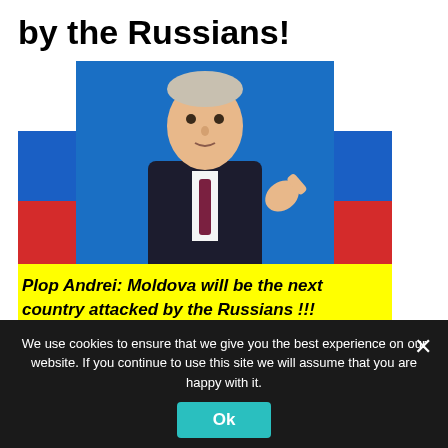by the Russians!
[Figure (photo): Person in suit pointing finger, flanked by Russian flags on blue background, with yellow banner overlay reading: Plop Andrei: Moldova will be the next country attacked by the Russians !!!]
Plop Andrei: Moldova will be the next country attacked by the Russians !!!
Plop Andrei/ #Russia – #Ukraine War: What Will Happen Next?
We use cookies to ensure that we give you the best experience on our website. If you continue to use this site we will assume that you are happy with it.